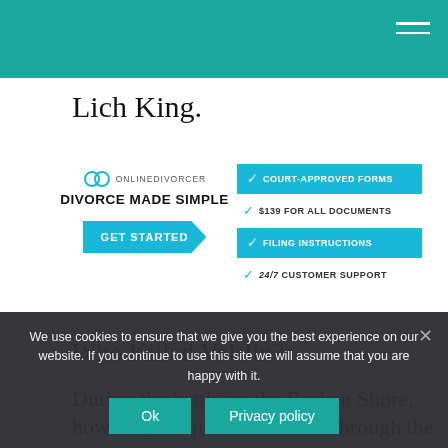Lich King.
[Figure (infographic): OnlineDivorcer advertisement banner with logo, 'DIVORCE MADE SIMPLE' tagline, GET STARTED button, and feature list: COURT-APPROVED FORMS, $139 FOR ALL DOCUMENTS, FILING INSTRUCTIONS, 24/7 CUSTOMER SUPPORT]
Who Killed Vol Jin?
During the battle on the Broken Shore, however, Vol'jin was stabbed through the
We use cookies to ensure that we give you the best experience on our website. If you continue to use this site we will assume that you are happy with it.